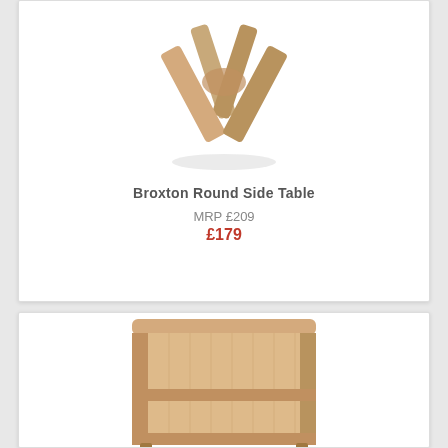[Figure (photo): Wooden table base/legs with an X crossed leg design, showing rustic oak finish, product image on white background]
Broxton Round Side Table
MRP £209
£179
[Figure (photo): Small wooden bookcase/shelving unit with two shelves, rustic oak finish, product image on white background]